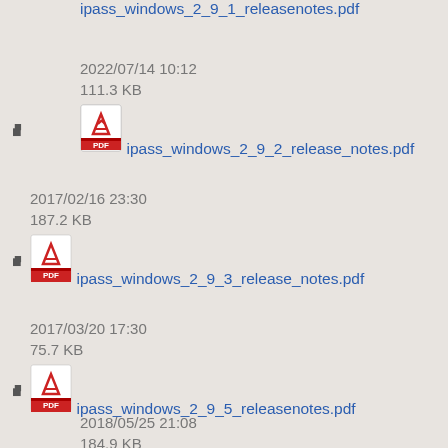ipass_windows_2_9_2_release_notes.pdf
2022/07/14 10:12
111.3 KB
ipass_windows_2_9_3_release_notes.pdf
2017/02/16 23:30
187.2 KB
ipass_windows_2_9_5_releasenotes.pdf
2017/03/20 17:30
75.7 KB
2018/05/25 21:08
184.9 KB